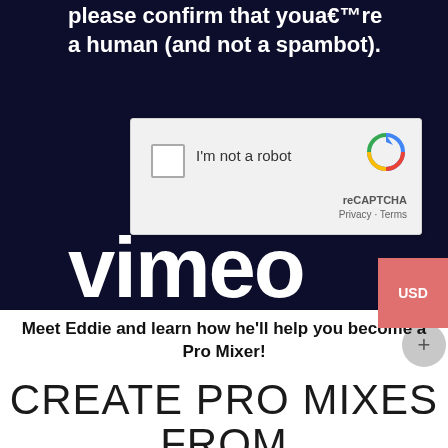please confirm that youâ€™re a human (and not a spambot).
[Figure (screenshot): reCAPTCHA widget with checkbox labeled 'I'm not a robot' and the reCAPTCHA logo with Privacy and Terms links]
[Figure (screenshot): Partial Vimeo logo text in white on dark navy background]
[Figure (other): USD currency button in coral/salmon color on right side]
Meet Eddie and learn how he'll help you become a Pro Mixer!
CREATE PRO MIXES FROM YOUR BEDROOM OR HOME STUDIO!
E Books, videos and subscription courses on mixing, mastering, recording and producing music from Eddie Bazil an industry professional with 30 years experience!